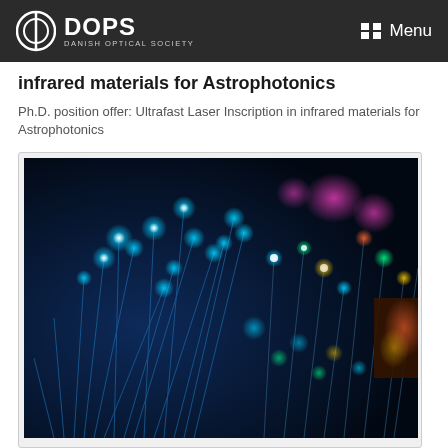DOPS DANISH OPTICAL SOCIETY | Menu
infrared materials for Astrophotonics
Ph.D. position offer: Ultrafast Laser Inscription in infrared materials for Astrophotonics
[Figure (photo): Close-up photo of illuminated fiber optic strands with colorful glowing light points on a dark background — blues, cyans, pinks, and multicolored bokeh]
Summer School in Poland
Summer School in Poland